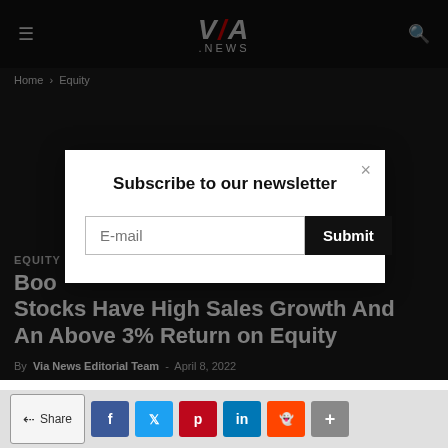VIA .NEWS
Home › Equity
Subscribe to our newsletter
Equity
Boo... Stocks Have High Sales Growth And An Above 3% Return on Equity
By Via News Editorial Team - April 8, 2022
Share